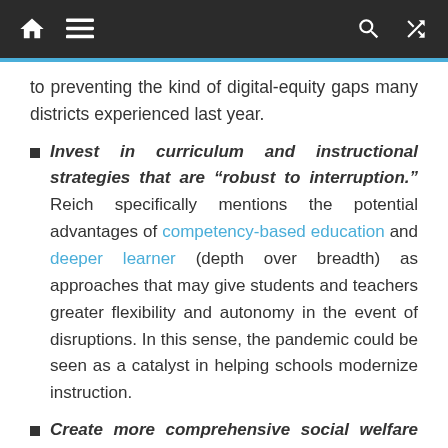Navigation bar with home, menu, search, and shuffle icons
to preventing the kind of digital-equity gaps many districts experienced last year.
Invest in curriculum and instructional strategies that are “robust to interruption.” Reich specifically mentions the potential advantages of competency-based education and deeper learner (depth over breadth) as approaches that may give students and teachers greater flexibility and autonomy in the event of disruptions. In this sense, the pandemic could be seen as a catalyst in helping schools modernize instruction.
Create more comprehensive social welfare programs for students and families. Again, this is a larger societal initiative that school